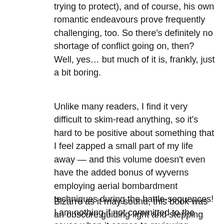trying to protect), and of course, his own romantic endeavours prove frequently challenging, too. So there's definitely no shortage of conflict going on, then?  Well, yes… but much of it is, frankly, just a bit boring.
Unlike many readers, I find it very difficult to skim-read anything, so it's hard to be positive about something that I feel zapped a small part of my life away — and this volume doesn't even have the added bonus of wyverns employing aerial bombardment techniques during the battle-sequences! I am nothing if not committed to the cause when it comes to reviewing somebody else's hard graft, however, so I will say that a select group of fantasy fans who like this sort of thing and level of detail will probably feel they've found their own personal nirvana in Cameron's extensively pocket universe, whereas a lot of it left me merely feeling somewhat detached.
Bizarre as it may sound, this book was an obscure guiding light and stepping stone combined, encouraging